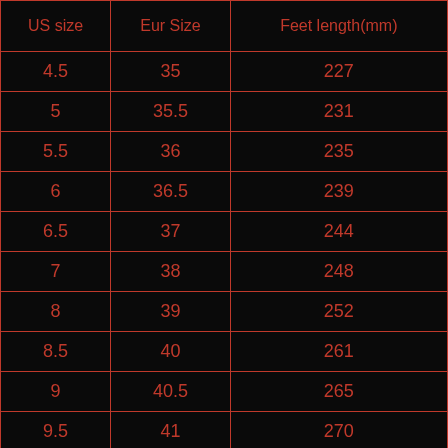| US size | Eur Size | Feet length(mm) |
| --- | --- | --- |
| 4.5 | 35 | 227 |
| 5 | 35.5 | 231 |
| 5.5 | 36 | 235 |
| 6 | 36.5 | 239 |
| 6.5 | 37 | 244 |
| 7 | 38 | 248 |
| 8 | 39 | 252 |
| 8.5 | 40 | 261 |
| 9 | 40.5 | 265 |
| 9.5 | 41 | 270 |